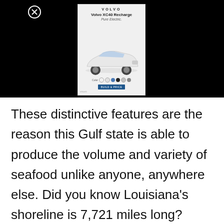[Figure (screenshot): Volvo XC40 Recharge Pure Electric advertisement overlay on black background with close button, showing car image, color swatches, and CTA button]
These distinctive features are the reason this Gulf state is able to produce the volume and variety of seafood unlike anyone, anywhere else. Did you know Louisiana's shoreline is 7,721 miles long? That's more than California and Maine combined, which is pretty impressive.